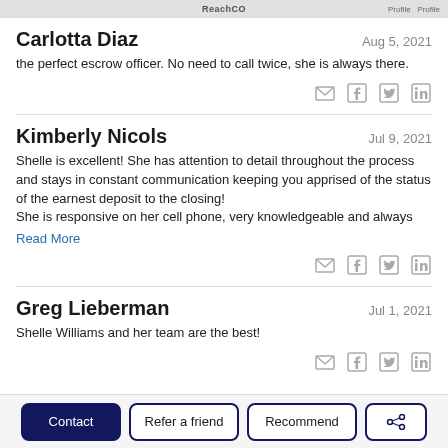ReachCO   Profile   Profile
Carlotta Diaz   Aug 5, 2021
the perfect escrow officer. No need to call twice, she is always there.
Kimberly Nicols   Jul 9, 2021
Shelle is excellent! She has attention to detail throughout the process and stays in constant communication keeping you apprised of the status of the earnest deposit to the closing!
She is responsive on her cell phone, very knowledgeable and always
Read More
Greg Lieberman   Jul 1, 2021
Shelle Williams and her team are the best!